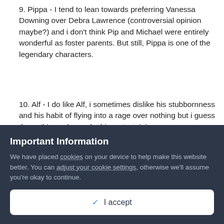9. Pippa - I tend to lean towards preferring Vanessa Downing over Debra Lawrence (controversial opinion maybe?) and i don't think Pip and Michael were entirely wonderful as foster parents. But still, Pippa is one of the legendary characters.
10. Alf - I do like Alf, i sometimes dislike his stubbornness and his habit of flying into a rage over nothing but i guess those things also make him entertaining
11. Irene - Of course it goes without saying that Irene is one of the classics
12. Selina - Some classic storylines like Saul and the cult and being stung by the bee stay in my mind strongly.
13. Shannon - She was actually my #1 favourite character when i
Important Information
We have placed cookies on your device to help make this website better. You can adjust your cookie settings, otherwise we'll assume you're okay to continue.
✓  I accept